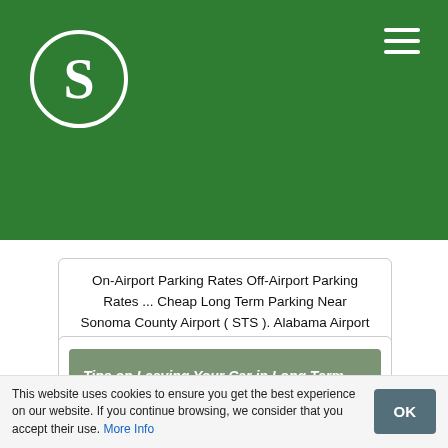S — logo and navigation header
On-Airport Parking Rates Off-Airport Parking Rates ... Cheap Long Term Parking Near Sonoma County Airport ( STS ). Alabama Airport ... Open 24/7. DoubleTree San Jose ... Open 24/7. Park Place Inn and Cottages (No Shuttle Service) ...
OPEN ONLINE
Tips on Leaving Your Car in Long Term Airport Parking
This website uses cookies to ensure you get the best experience on our website. If you continue browsing, we consider that you accept their use. More Info